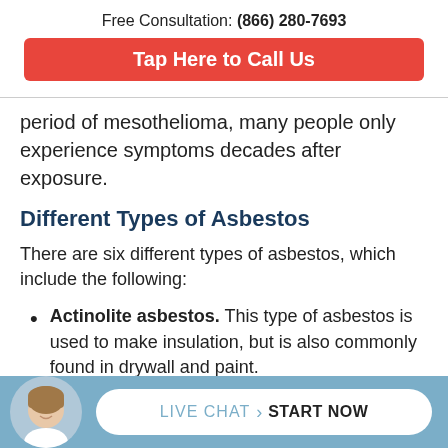Free Consultation: (866) 280-7693
Tap Here to Call Us
period of mesothelioma, many people only experience symptoms decades after exposure.
Different Types of Asbestos
There are six different types of asbestos, which include the following:
Actinolite asbestos. This type of asbestos is used to make insulation, but is also commonly found in drywall and paint.